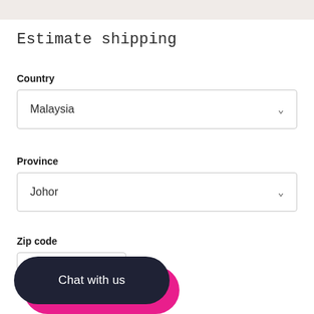Estimate shipping
Country
Malaysia
Province
Johor
Zip code
Chat with us